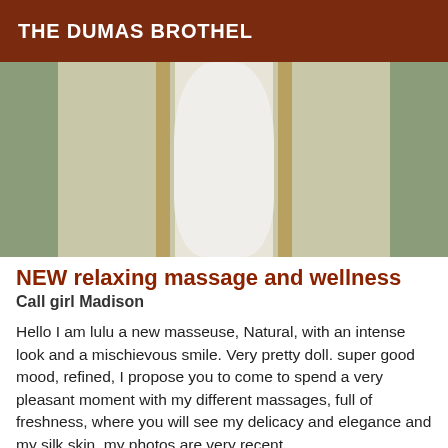THE DUMAS BROTHEL
[Figure (photo): Photo of a person in a white dress standing between two gold-framed mirrors with green/grey curtains in the background]
NEW relaxing massage and wellness
Call girl Madison
Hello I am lulu a new masseuse, Natural, with an intense look and a mischievous smile. Very pretty doll. super good mood, refined, I propose you to come to spend a very pleasant moment with my different massages, full of freshness, where you will see my delicacy and elegance and my silk skin, my photos are very recent